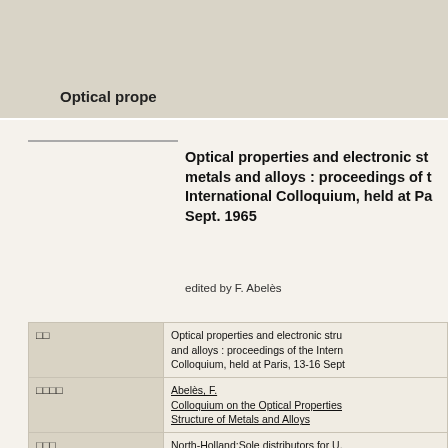Optical prope
Optical properties and electronic structure of metals and alloys : proceedings of the International Colloquium, held at Paris, 13-16 Sept. 1965
edited by F. Abelès
|  |  |
| --- | --- |
| □□ | Optical properties and electronic structure of metals and alloys : proceedings of the International Colloquium, held at Paris, 13-16 Sept |
| □□□□ | Abelès, F.
Colloquium on the Optical Properties and Electronic Structure of Metals and Alloys |
| □□□ | North-Holland;Sole distributors for U.S.A. and Canada, Interscience |
| □□□□ | 1966 |
| □□□□ | ix, 643 p. |